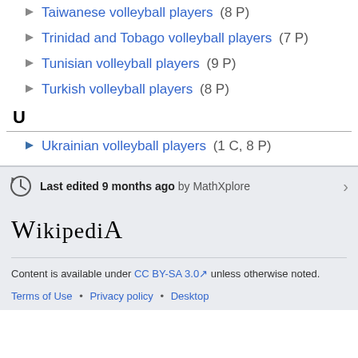Taiwanese volleyball players (8 P)
Trinidad and Tobago volleyball players (7 P)
Tunisian volleyball players (9 P)
Turkish volleyball players (8 P)
U
Ukrainian volleyball players (1 C, 8 P)
Last edited 9 months ago by MathXplore
Wikipedia
Content is available under CC BY-SA 3.0 unless otherwise noted.
Terms of Use • Privacy policy • Desktop